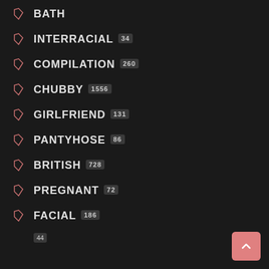BATH
INTERRACIAL 34
COMPILATION 260
CHUBBY 1556
GIRLFRIEND 131
PANTYHOSE 86
BRITISH 728
PREGNANT 72
FACIAL 186
44